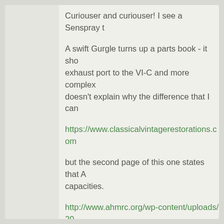Curiouser and curiouser! I see a Senspray t
A swift Gurgle turns up a parts book - it shows exhaust port to the VI-C and more complex doesn't explain why the difference that I can
https://www.classicalvintagerestorations.com
but the second page of this one states that A capacities.
http://www.ahmrc.org/wp-content/uploads/20
So what's the difference? I think it's to do wi - if you look at the parts diagram, it's got an two halves must be handed.